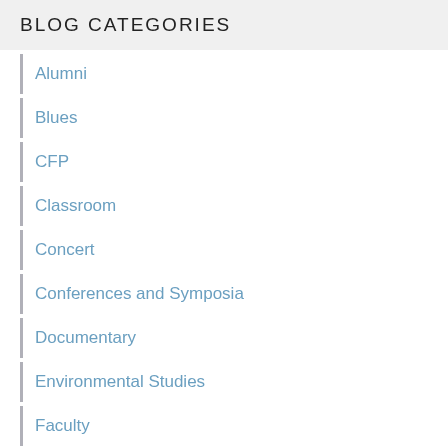BLOG CATEGORIES
Alumni
Blues
CFP
Classroom
Concert
Conferences and Symposia
Documentary
Environmental Studies
Faculty
Film